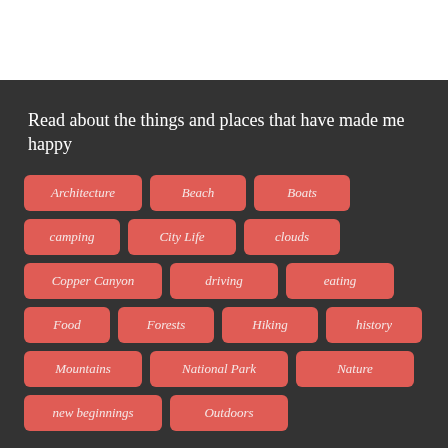Read about the things and places that have made me happy
Architecture
Beach
Boats
camping
City Life
clouds
Copper Canyon
driving
eating
Food
Forests
Hiking
history
Mountains
National Park
Nature
new beginnings
Outdoors